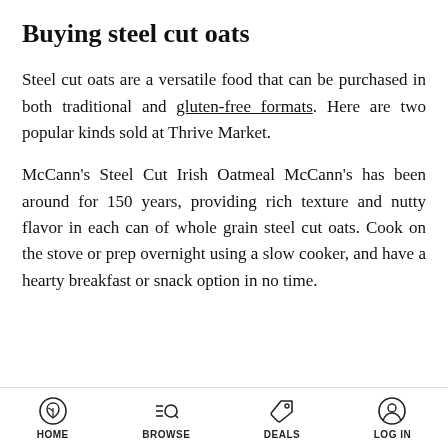Buying steel cut oats
Steel cut oats are a versatile food that can be purchased in both traditional and gluten-free formats. Here are two popular kinds sold at Thrive Market.
McCann's Steel Cut Irish Oatmeal McCann's has been around for 150 years, providing rich texture and nutty flavor in each can of whole grain steel cut oats. Cook on the stove or prep overnight using a slow cooker, and have a hearty breakfast or snack option in no time.
HOME  BROWSE  DEALS  LOG IN